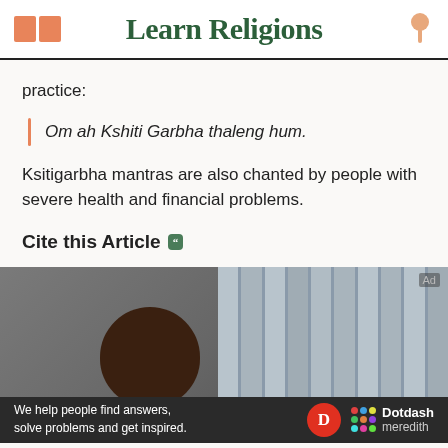Learn Religions
practice:
Om ah Kshiti Garbha thaleng hum.
Ksitigarbha mantras are also chanted by people with severe health and financial problems.
Cite this Article
[Figure (photo): A partial view of a person's head in front of a latticed background, with an advertisement banner at the bottom reading 'We help people find answers, solve problems and get inspired.' with Dotdash Meredith branding.]